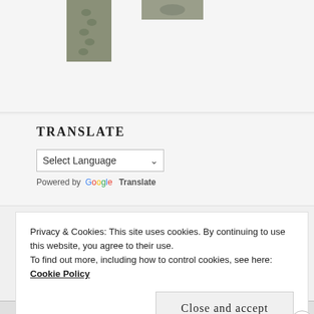[Figure (photo): Two partial photographs of footprints in sand, visible at top of page — left image is taller showing multiple footprints, right image is a smaller cropped view of a footprint or sand surface.]
TRANSLATE
Select Language
Powered by Google Translate
Privacy & Cookies: This site uses cookies. By continuing to use this website, you agree to their use.
To find out more, including how to control cookies, see here:
Cookie Policy
Close and accept